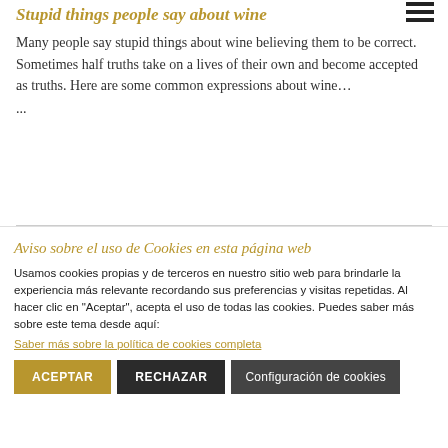Stupid things people say about wine
Many people say stupid things about wine believing them to be correct. Sometimes half truths take on a lives of their own and become accepted as truths. Here are some common expressions about wine…
...
Aviso sobre el uso de Cookies en esta página web
Usamos cookies propias y de terceros en nuestro sitio web para brindarle la experiencia más relevante recordando sus preferencias y visitas repetidas. Al hacer clic en "Aceptar", acepta el uso de todas las cookies. Puedes saber más sobre este tema desde aquí:
Saber más sobre la política de cookies completa
ACEPTAR   RECHAZAR   Configuración de cookies